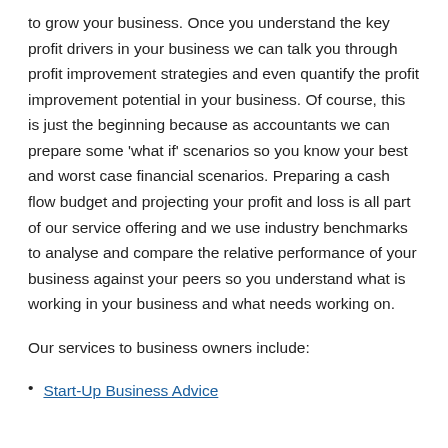to grow your business. Once you understand the key profit drivers in your business we can talk you through profit improvement strategies and even quantify the profit improvement potential in your business. Of course, this is just the beginning because as accountants we can prepare some 'what if' scenarios so you know your best and worst case financial scenarios. Preparing a cash flow budget and projecting your profit and loss is all part of our service offering and we use industry benchmarks to analyse and compare the relative performance of your business against your peers so you understand what is working in your business and what needs working on.
Our services to business owners include:
Start-Up Business Advice